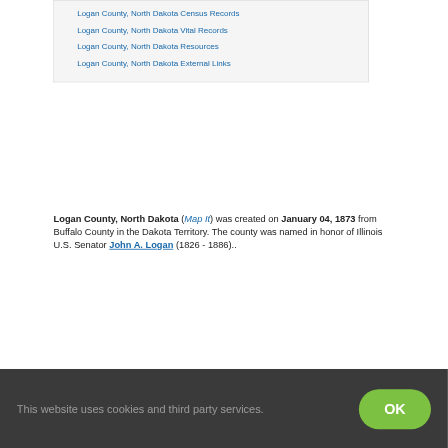Logan County, North Dakota Census Records
Logan County, North Dakota Vital Records
Logan County, North Dakota Resources
Logan County, North Dakota External Links
Logan County, North Dakota (Map It) was created on January 04, 1873 from Buffalo County in the Dakota Territory. The county was named in honor of Illinois U.S. Senator John A. Logan (1826 - 1886)..
This website uses cookies and third party services.